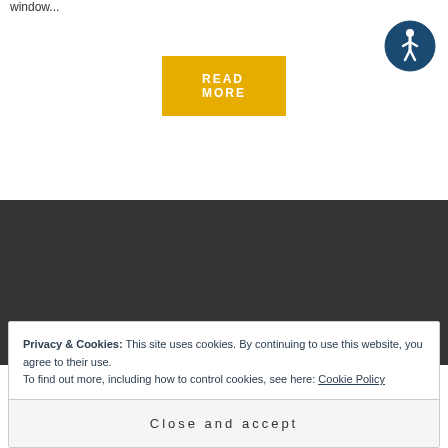window...
READ MORE
[Figure (illustration): Accessibility icon: blue circle with white human figure (wheelchair accessibility symbol)]
[Figure (photo): Dark gray/charcoal background section]
Privacy & Cookies: This site uses cookies. By continuing to use this website, you agree to their use.
To find out more, including how to control cookies, see here: Cookie Policy
Close and accept